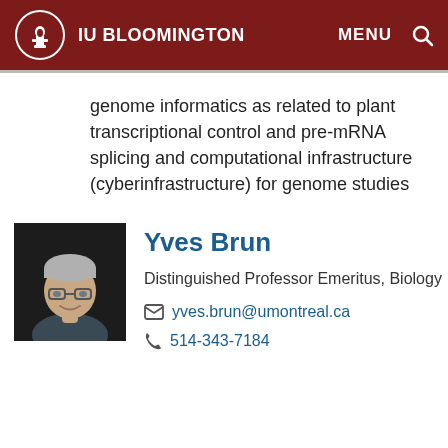IU BLOOMINGTON  MENU 🔍
genome informatics as related to plant transcriptional control and pre-mRNA splicing and computational infrastructure (cyberinfrastructure) for genome studies
[Figure (photo): Headshot of Yves Brun, an older man with gray hair and glasses, wearing a dark shirt, against a dark background.]
Yves Brun
Distinguished Professor Emeritus, Biology
yves.brun@umontreal.ca
514-343-7184